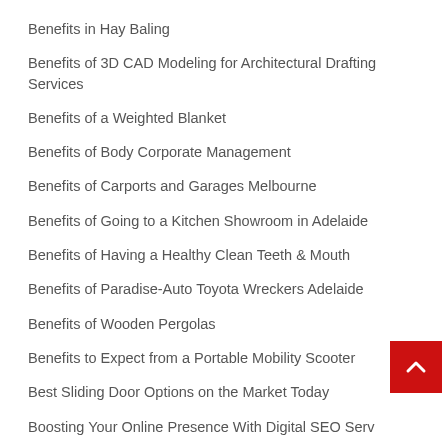Benefits in Hay Baling
Benefits of 3D CAD Modeling for Architectural Drafting Services
Benefits of a Weighted Blanket
Benefits of Body Corporate Management
Benefits of Carports and Garages Melbourne
Benefits of Going to a Kitchen Showroom in Adelaide
Benefits of Having a Healthy Clean Teeth & Mouth
Benefits of Paradise-Auto Toyota Wreckers Adelaide
Benefits of Wooden Pergolas
Benefits to Expect from a Portable Mobility Scooter
Best Sliding Door Options on the Market Today
Boosting Your Online Presence With Digital SEO Serv
Breast Reduction Surgery – What Are the Benefits and